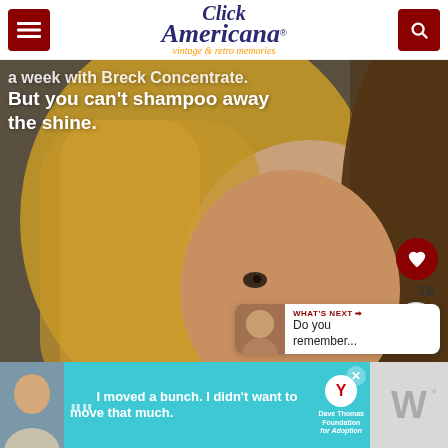Click Americana - vintage & retro memories
[Figure (photo): Vintage Breck Concentrate shampoo advertisement showing a young woman with shiny hair, with bold white text overlaid reading 'a week with Breck Concentrate. But you can't shampoo away the shine.']
a week with Breck Concentrate. But you can't shampoo away the shine.
16
WHAT'S NEXT → Do you remember...
[Figure (photo): Thumbnail image for 'What's Next' section showing a woman's face]
"I moved a bunch. I didn't want to move that much. - Dave Thomas Foundation for Adoption